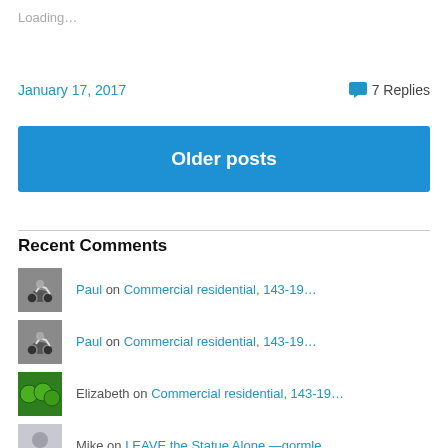Loading…
January 17, 2017
7 Replies
Older posts
Recent Comments
Paul on Commercial residential, 143-19…
Paul on Commercial residential, 143-19…
Elizabeth on Commercial residential, 143-19…
Mike on LEAVE the Statue Alone —gormle…
Rob Hamlin on Delta #EpicFail and Metiria Tu…